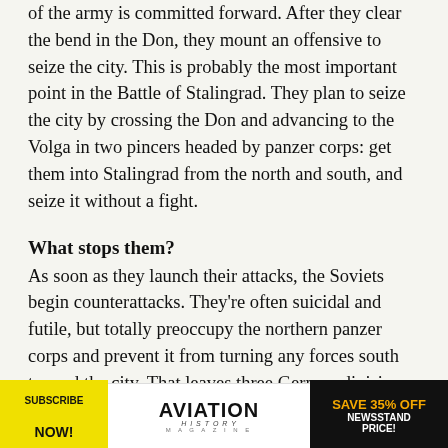of the army is committed forward. After they clear the bend in the Don, they mount an offensive to seize the city. This is probably the most important point in the Battle of Stalingrad. They plan to seize the city by crossing the Don and advancing to the Volga in two pincers headed by panzer corps: get them into Stalingrad from the north and south, and seize it without a fight.
What stops them?
As soon as they launch their attacks, the Soviets begin counterattacks. They're often suicidal and futile, but totally preoccupy the northern panzer corps and prevent it from turning any forces south toward the city. That leaves three German divisions in hedgehogs stretched along a 40-kilometer road They...
[Figure (other): Aviation History Magazine advertisement banner: yellow circle with SUBSCRIBE NOW!, Aviation History Magazine logo in center, black right panel with SAVE 35% OFF NEWSSTAND PRICE! in orange and white text.]